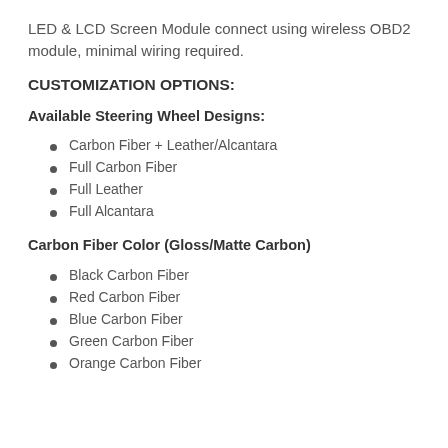LED & LCD Screen Module connect using wireless OBD2 module, minimal wiring required.
CUSTOMIZATION OPTIONS:
Available Steering Wheel Designs:
Carbon Fiber + Leather/Alcantara
Full Carbon Fiber
Full Leather
Full Alcantara
Carbon Fiber Color (Gloss/Matte Carbon)
Black Carbon Fiber
Red Carbon Fiber
Blue Carbon Fiber
Green Carbon Fiber
Orange Carbon Fiber